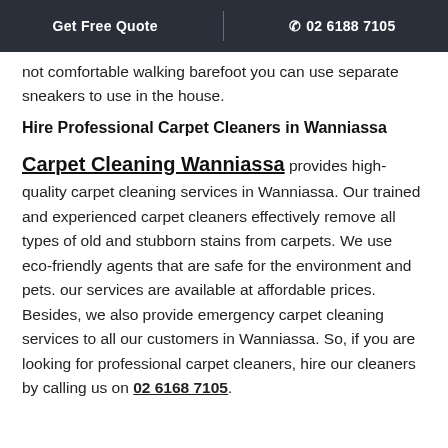Get Free Quote | 02 6188 7105
not comfortable walking barefoot you can use separate sneakers to use in the house.
Hire Professional Carpet Cleaners in Wanniassa
Carpet Cleaning Wanniassa provides high-quality carpet cleaning services in Wanniassa. Our trained and experienced carpet cleaners effectively remove all types of old and stubborn stains from carpets. We use eco-friendly agents that are safe for the environment and pets. our services are available at affordable prices. Besides, we also provide emergency carpet cleaning services to all our customers in Wanniassa. So, if you are looking for professional carpet cleaners, hire our cleaners by calling us on 02 6168 7105.